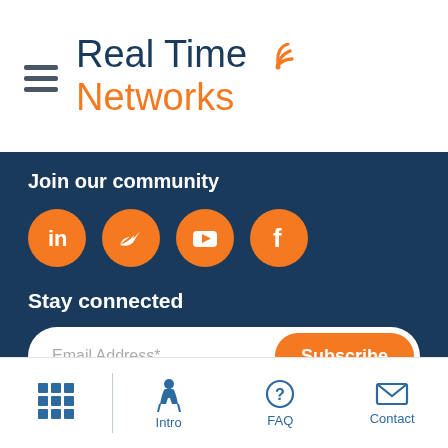[Figure (logo): Real Time Networks logo with hamburger menu icon. 'Real Time' in dark blue with orange wifi signal icon, 'Networks' in orange below.]
Join our community
[Figure (infographic): Four orange circular social media icons: LinkedIn, Twitter, YouTube, Facebook]
Stay connected
[Figure (infographic): Email subscription form with 'Email Address*' placeholder input and orange 'Subscribe' button]
Intro | FAQ | Contact